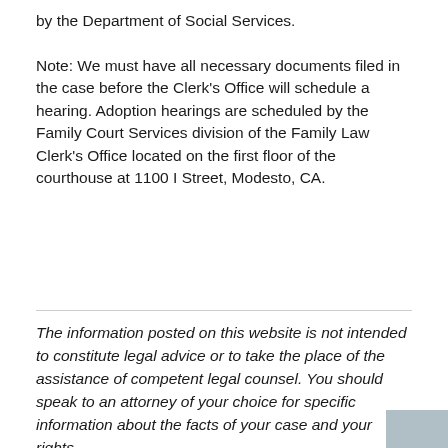by the Department of Social Services.
Note: We must have all necessary documents filed in the case before the Clerk's Office will schedule a hearing. Adoption hearings are scheduled by the Family Court Services division of the Family Law Clerk's Office located on the first floor of the courthouse at 1100 I Street, Modesto, CA.
The information posted on this website is not intended to constitute legal advice or to take the place of the assistance of competent legal counsel. You should speak to an attorney of your choice for specific information about the facts of your case and your rights.